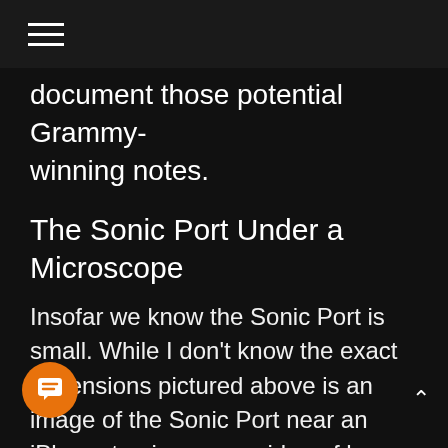≡
document those potential Grammy-winning notes.
The Sonic Port Under a Microscope
Insofar we know the Sonic Port is small. While I don't know the exact dimensions pictured above is an image of the Sonic Port near an iPhone to give you an idea of how much space it takes up. You can gather it will easily fit in your pocket. The Sonic Port works with CoreAudio apps giving guitarists the freedom to record or outright perform through their iDevices